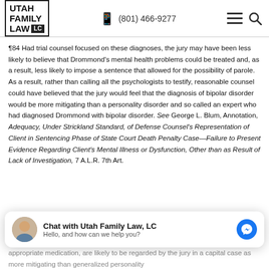Utah Family Law LC | (801) 466-9277
¶84 Had trial counsel focused on these diagnoses, the jury may have been less likely to believe that Drommond's mental health problems could be treated and, as a result, less likely to impose a sentence that allowed for the possibility of parole. As a result, rather than calling all the psychologists to testify, reasonable counsel could have believed that the jury would feel that the diagnosis of bipolar disorder would be more mitigating than a personality disorder and so called an expert who had diagnosed Drommond with bipolar disorder. See George L. Blum, Annotation, Adequacy, Under Strickland Standard, of Defense Counsel's Representation of Client in Sentencing Phase of State Court Death Penalty Case—Failure to Present Evidence Regarding Client's Mental Illness or Dysfunction, Other than as Result of Lack of Investigation, 7 A.L.R. 7th Art.
Chat with Utah Family Law, LC
Hello, and how can we help you?
appropriate medication, are likely to be regarded by the jury in a capital case as more mitigating than generalized personality